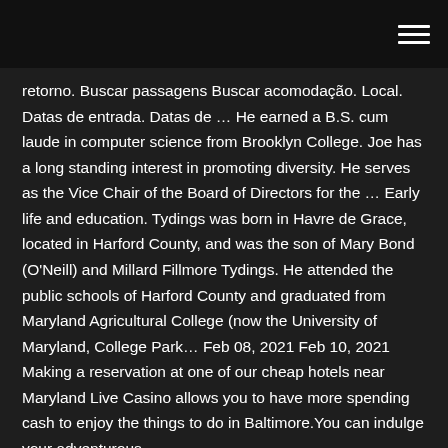[hamburger menu icon]
retorno. Buscar passagens Buscar acomodação. Local. Datas de entrada. Datas de … He earned a B.S. cum laude in computer science from Brooklyn College. Joe has a long standing interest in promoting diversity. He serves as the Vice Chair of the Board of Directors for the … Early life and education. Tydings was born in Havre de Grace, located in Harford County, and was the son of Mary Bond (O'Neill) and Millard Fillmore Tydings. He attended the public schools of Harford County and graduated from Maryland Agricultural College (now the University of Maryland, College Park… Feb 08, 2021 Feb 10, 2021 Making a reservation at one of our cheap hotels near Maryland Live Casino allows you to have more spending cash to enjoy the things to do in Baltimore.You can indulge your adventurous …